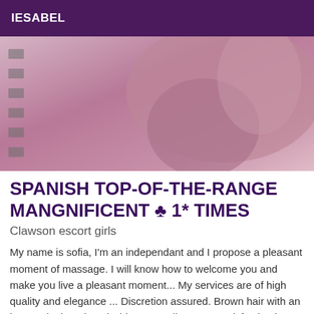IESABEL
[Figure (photo): Close-up photo of a person in a pink/mauve outfit, showing arm and torso, with sidebar grey squares on the left side]
SPANISH TOP-OF-THE-RANGE MANGNIFICENT ☘ 1* TIMES
Clawson escort girls
My name is sofia, I'm an independant and I propose a pleasant moment of massage. I will know how to welcome you and make you live a pleasant moment... My services are of high quality and elegance ... Discretion assured. Brown hair with an intense look and a mischievous smile... Your satisfaction is very important to me, I do everything I can to leave you happy and come back. Always smiling and in a good mood image it is visiting for you with me amazing discerning others is